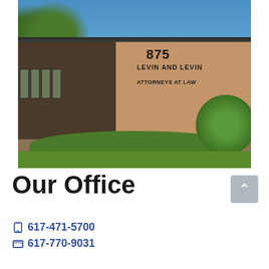[Figure (photo): Exterior photo of a single-story brick office building with the number 875 and sign reading 'LEVIN AND LEVIN ATTORNEYS AT LAW' on the facade. The building has dark wood paneling on the left side with windows, surrounded by green shrubs and trees under a blue sky.]
Our Office
617-471-5700
617-770-9031